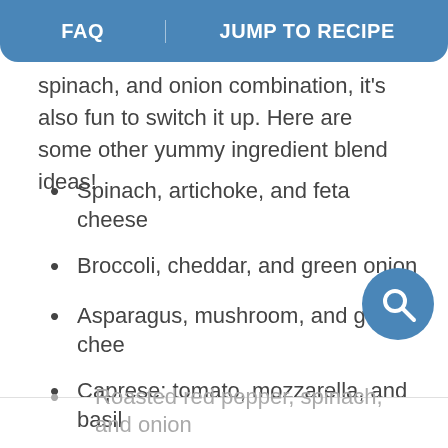FAQ  |  JUMP TO RECIPE
spinach, and onion combination, it's also fun to switch it up. Here are some other yummy ingredient blend ideas!
Spinach, artichoke, and feta cheese
Broccoli, cheddar, and green onion
Asparagus, mushroom, and goat cheese
Caprese: tomato, mozzarella, and basil
Onion, carrot, pepper, and chives
Roasted red pepper, spinach, and onion